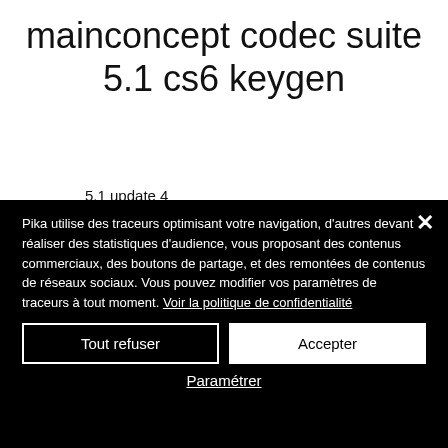mainconcept codec suite 5.1 cs6 keygen
5.1 update 4
MainConcept Codec Suite 5.1. Free update 4 is a set of full featured, native 64-bit editing and export Plug-Ins.
WIDOWSCN CHEAT
Pika utilise des traceurs optimisant votre navigation, d'autres devant réaliser des statistiques d'audience, vous proposant des contenus commerciaux, des boutons de partage, et des remontées de contenus de réseaux sociaux. Vous pouvez modifier vos paramètres de traceurs à tout moment. Voir la politique de confidentialité
Tout refuser
Accepter
Paramétrer